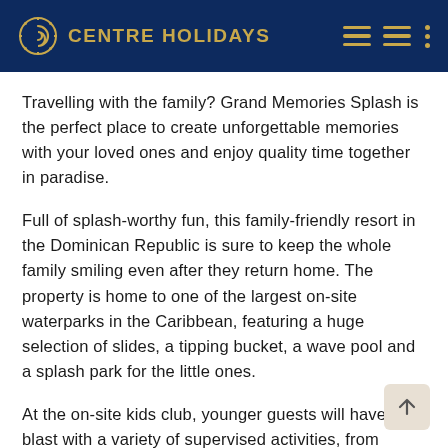CENTRE HOLIDAYS
Travelling with the family? Grand Memories Splash is the perfect place to create unforgettable memories with your loved ones and enjoy quality time together in paradise.
Full of splash-worthy fun, this family-friendly resort in the Dominican Republic is sure to keep the whole family smiling even after they return home. The property is home to one of the largest on-site waterparks in the Caribbean, featuring a huge selection of slides, a tipping bucket, a wave pool and a splash park for the little ones.
At the on-site kids club, younger guests will have a blast with a variety of supervised activities, from meeting popular characters Toopy and